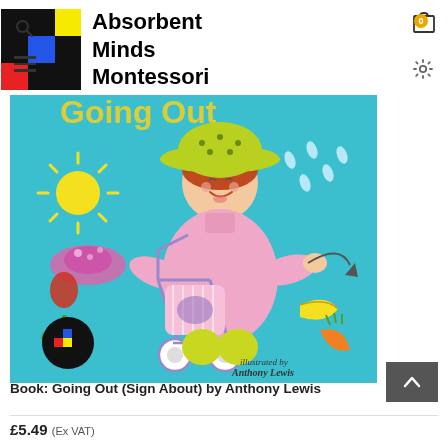Absorbent Minds Montessori
[Figure (illustration): Book cover illustration for 'Going Out (Sign About)' by Anthony Lewis. Shows a young girl wearing a large yellow-green hat and pink coat, pushing a pink striped stroller/pushchair. The turquoise background includes a sun, raindrops, a pink hat, tulip, banana, carrot, and other items. Text at bottom right reads 'illustrated by Anthony Lewis'. Absorbent Minds Montessori logo appears in bottom left corner of image.]
Book: Going Out (Sign About) by Anthony Lewis
£5.49 (Ex VAT)